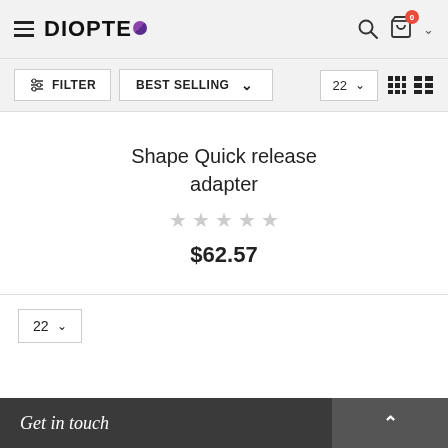DIOPTEO — navigation header with search and cart (0 items)
FILTER   BEST SELLING ▾   22 ▾
Shape Quick release adapter
★★★★★ (0 stars)
$62.57
22 ▾
Get in touch